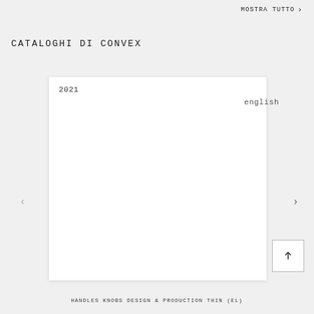MOSTRA TUTTO >
CATALOGHI DI CONVEX
[Figure (other): Catalog card showing year 2021 and language 'english' on a white card panel]
HANDLES KNOBS DESIGN & PRODUCTION THIN (EL)